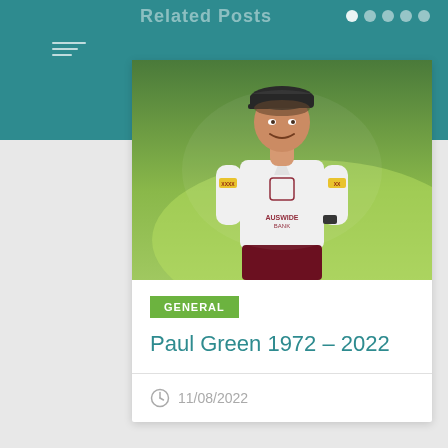Related Posts
[Figure (photo): Man in white Queensland Maroons training jersey with Auswide Bank sponsor logo, wearing dark cap, smiling, photographed outdoors]
GENERAL
Paul Green 1972 – 2022
11/08/2022